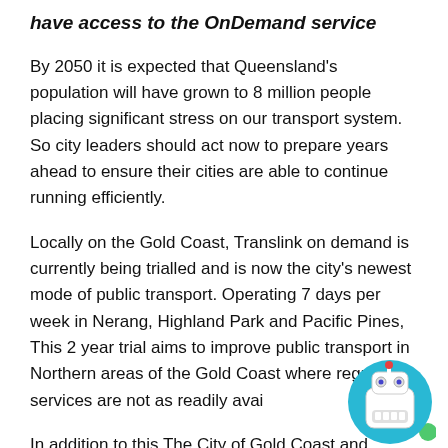have access to the OnDemand service
By 2050 it is expected that Queensland's population will have grown to 8 million people placing significant stress on our transport system. So city leaders should act now to prepare years ahead to ensure their cities are able to continue running efficiently.
Locally on the Gold Coast, Translink on demand is currently being trialled and is now the city's newest mode of public transport. Operating 7 days per week in Nerang, Highland Park and Pacific Pines, This 2 year trial aims to improve public transport in Northern areas of the Gold Coast where regular services are not as readily avai
In addition to this The City of Gold Coast and
[Figure (illustration): Robot mascot icon — a small cartoon robot with antenna, blue circular background, white body, big eyes, and a toothy grin, with a small green circle beside it.]